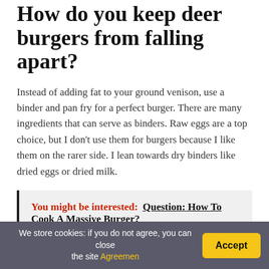How do you keep deer burgers from falling apart?
Instead of adding fat to your ground venison, use a binder and pan fry for a perfect burger. There are many ingredients that can serve as binders. Raw eggs are a top choice, but I don't use them for burgers because I like them on the rarer side. I lean towards dry binders like dried eggs or dried milk.
You might be interested: Question: How To Cook A Massive Burger?
Is it better to cook burgers in the oven or on the stove?
We store cookies: if you do not agree, you can close the site Agreemen